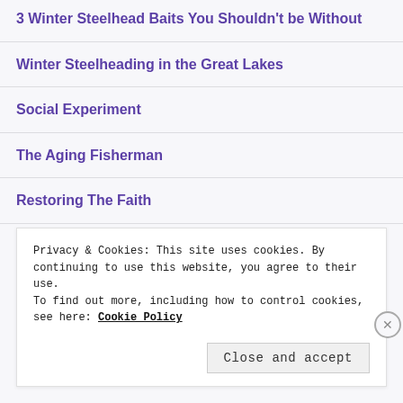3 Winter Steelhead Baits You Shouldn't be Without
Winter Steelheading in the Great Lakes
Social Experiment
The Aging Fisherman
Restoring The Faith
Privacy & Cookies: This site uses cookies. By continuing to use this website, you agree to their use.
To find out more, including how to control cookies, see here: Cookie Policy
Close and accept